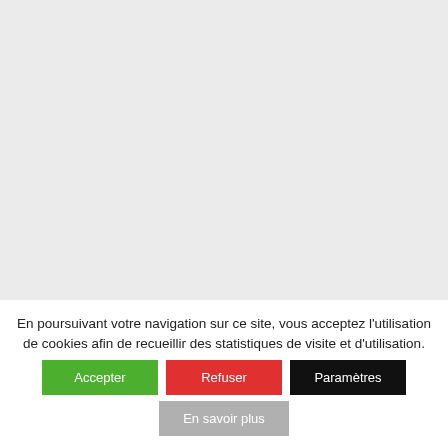[Figure (screenshot): Gray background area representing a webpage content area above a cookie consent banner]
En poursuivant votre navigation sur ce site, vous acceptez l'utilisation de cookies afin de recueillir des statistiques de visite et d'utilisation.
Accepter
Refuser
Paramètres
En savoir plus